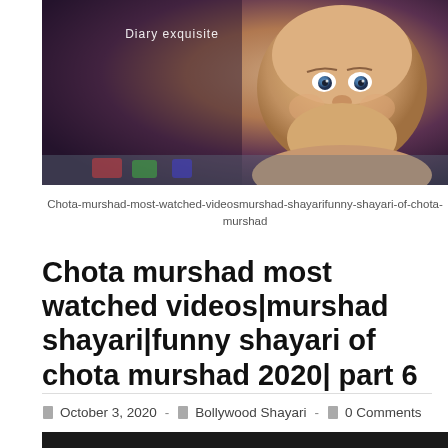[Figure (photo): Dark background photo with a baby/infant lying down with a grumpy expression, text 'Diary exquisite' overlaid on dark area]
Chota-murshad-most-watched-videosmurshad-shayarifunny-shayari-of-chota-murshad
Chota murshad most watched videos|murshad shayari|funny shayari of chota murshad 2020| part 6
October 3, 2020 - Bollywood Shayari - 0 Comments